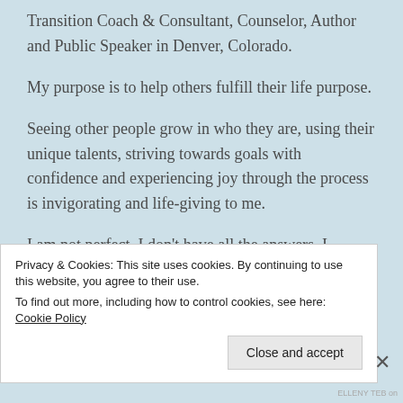Transition Coach & Consultant, Counselor, Author and Public Speaker in Denver, Colorado.
My purpose is to help others fulfill their life purpose.
Seeing other people grow in who they are, using their unique talents, striving towards goals with confidence and experiencing joy through the process is invigorating and life-giving to me.
I am not perfect. I don't have all the answers. I
Privacy & Cookies: This site uses cookies. By continuing to use this website, you agree to their use.
To find out more, including how to control cookies, see here: Cookie Policy
Close and accept